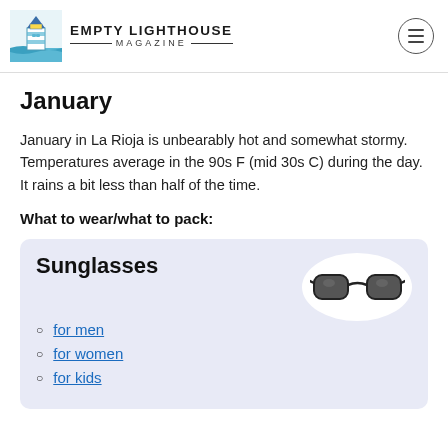EMPTY LIGHTHOUSE MAGAZINE
January
January in La Rioja is unbearably hot and somewhat stormy. Temperatures average in the 90s F (mid 30s C) during the day. It rains a bit less than half of the time.
What to wear/what to pack:
[Figure (infographic): Product card with Sunglasses heading, an image of black sunglasses, and links for men, women, and kids]
for men
for women
for kids